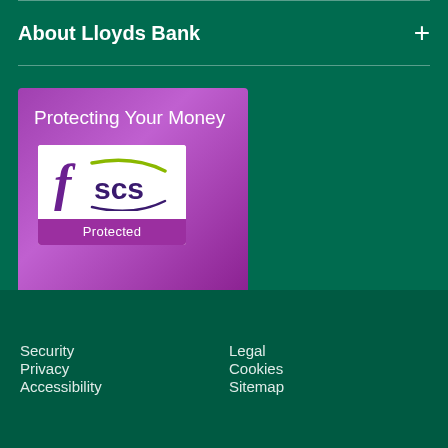About Lloyds Bank
[Figure (illustration): FSCS Protected badge card. Purple background with text 'Protecting Your Money' and the FSCS logo (stylized f, 'scs' text with a curved line) in a white box labeled 'Protected'.]
Security
Legal
Privacy
Cookies
Accessibility
Sitemap